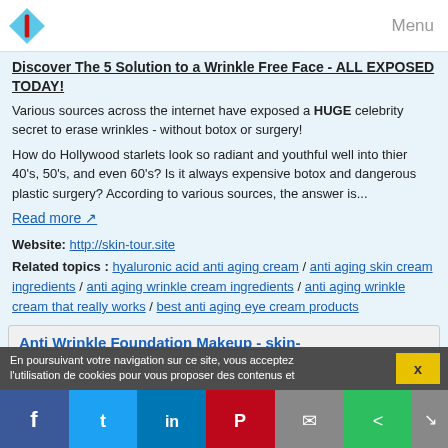Menu
Discover The 5 Solution to a Wrinkle Free Face - ALL EXPOSED TODAY!
Various sources across the internet have exposed a HUGE celebrity secret to erase wrinkles - without botox or surgery!
How do Hollywood starlets look so radiant and youthful well into thier 40's, 50's, and even 60's? Is it always expensive botox and dangerous plastic surgery? According to various sources, the answer is...
Read more ↗
Website: http://skin-tour.site
Related topics : hyaluronic acid anti aging cream / anti aging skin cream ingredients / anti aging wrinkle cream ingredients / anti aging wrinkle cream that really works / best anti aging eye cream products
Anti Wrinkle Foundation Makeup - skin-
En poursuivant votre navigation sur ce site, vous acceptez l'utilisation de cookies pour vous proposer des contenus et...